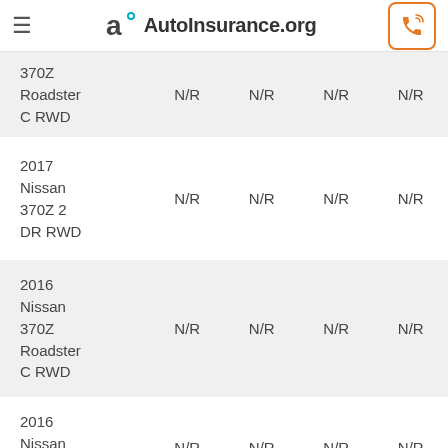AutoInsurance.org
| Vehicle | Col1 | Col2 | Col3 | Col4 |
| --- | --- | --- | --- | --- |
| 370Z Roadster C RWD | N/R | N/R | N/R | N/R |
| 2017 Nissan 370Z 2 DR RWD | N/R | N/R | N/R | N/R |
| 2016 Nissan 370Z Roadster C RWD | N/R | N/R | N/R | N/R |
| 2016 Nissan 370Z 2 DR RWD | N/R | N/R | N/R | N/R |